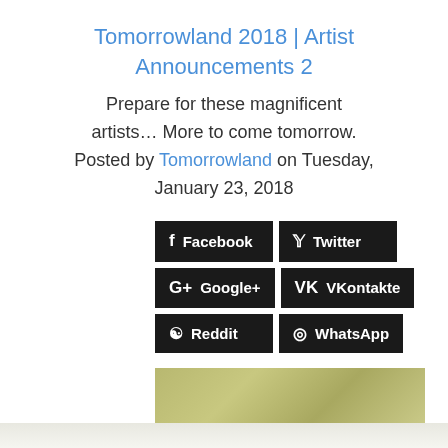Tomorrowland 2018 | Artist Announcements 2
Prepare for these magnificent artists… More to come tomorrow. Posted by Tomorrowland on Tuesday, January 23, 2018
[Figure (infographic): Social share buttons: Facebook, Twitter, Google+, VKontakte, Reddit, WhatsApp, all with black background]
[Figure (photo): Partial image with olive/khaki gradient color band at the bottom of the page]